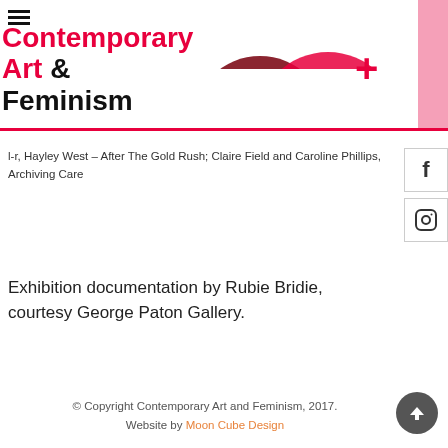[Figure (logo): Contemporary Art & Feminism website header with logo text and overlapping semicircle shapes in dark red and magenta, plus a plus sign and pink rectangle accent]
l-r, Hayley West – After The Gold Rush; Claire Field and Caroline Phillips, Archiving Care
Exhibition documentation by Rubie Bridie, courtesy George Paton Gallery.
© Copyright Contemporary Art and Feminism, 2017. Website by Moon Cube Design